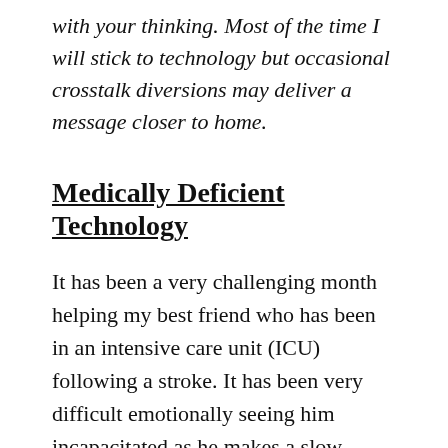with your thinking. Most of the time I will stick to technology but occasional crosstalk diversions may deliver a message closer to home.
Medically Deficient Technology
It has been a very challenging month helping my best friend who has been in an intensive care unit (ICU) following a stroke. It has been very difficult emotionally seeing him incapacitated as he makes a slow recovery with many ups and downs.